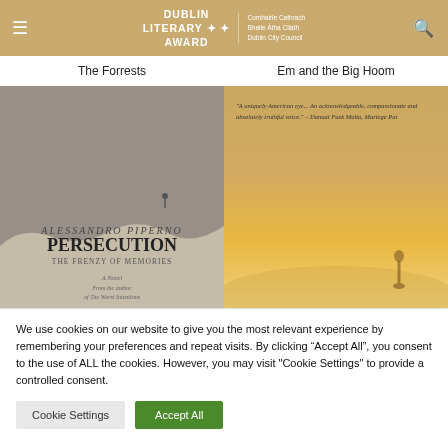DUBLIN LITERARY AWARD | Comhairle Cathrach Bhaile Átha Cliath Dublin City Council
The Forrests
Em and the Big Hoom
[Figure (photo): Book cover of 'Persecution: The Frenzy of Memories' by Alessandro Piperno, A Novel, sepia toned cover with mountain imagery]
[Figure (photo): Book cover of 'Em and the Big Hoom' with a quote and a silhouetted figure in golden misty background]
We use cookies on our website to give you the most relevant experience by remembering your preferences and repeat visits. By clicking “Accept All”, you consent to the use of ALL the cookies. However, you may visit "Cookie Settings" to provide a controlled consent.